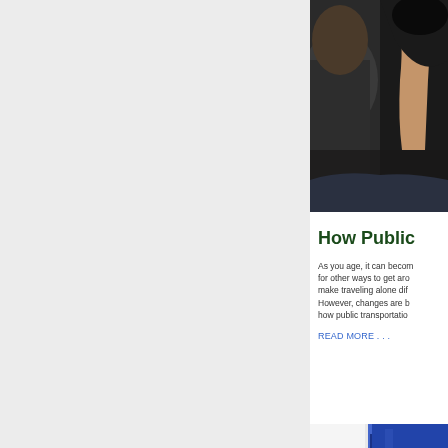[Figure (photo): Person on public transportation, cropped view showing upper body of passenger holding a rail, wearing dark clothing]
How Public
As you age, it can becom for other ways to get aro make traveling alone dif However, changes are b how public transportatio
READ MORE . . .
[Figure (photo): Close-up of public transit door or button area with yellow emergency button visible and blue door panel]